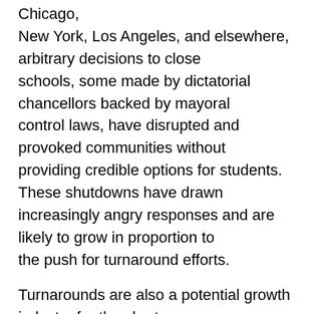Chicago, New York, Los Angeles, and elsewhere, arbitrary decisions to close schools, some made by dictatorial chancellors backed by mayoral control laws, have disrupted and provoked communities without providing credible options for students. These shutdowns have drawn increasingly angry responses and are likely to grow in proportion to the push for turnaround efforts.
Turnarounds are also a potential growth industry for the charter franchisers, educational management companies, and foundation-funded nonprofits that are now both instruments and influential partners of the administration's plans. Obama is proposing to invest another $1 billion in school turnaround grants as part of a renewed